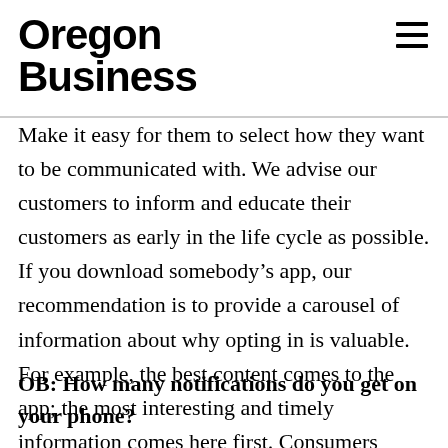Oregon Business
Make it easy for them to select how they want to be communicated with. We advise our customers to inform and educate their customers as early in the life cycle as possible. If you download somebody’s app, our recommendation is to provide a carousel of information about why opting in is valuable. For example, the best content comes to the app; the most interesting and timely information comes here first. Consumers always have the option of opting out.
OB: How many notifications do you get on your phone?